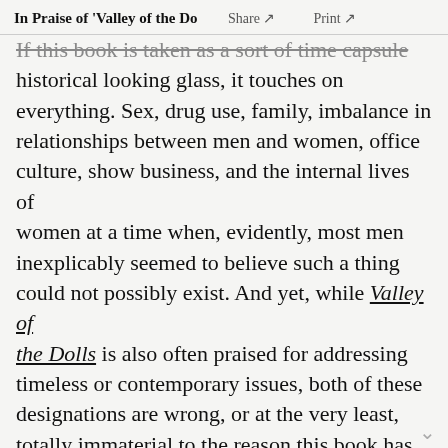In Praise of 'Valley of the Do  Share ↗  Print ↗
If this book is taken as a sort of time capsule historical looking glass, it touches on everything. Sex, drug use, family, imbalance in relationships between men and women, office culture, show business, and the internal lives of women at a time when, evidently, most men inexplicably seemed to believe such a thing could not possibly exist. And yet, while Valley of the Dolls is also often praised for addressing timeless or contemporary issues, both of these designations are wrong, or at the very least, totally immaterial to the reason this book has remained part of the American cultural canon for 52 years. I suspect that readers use these